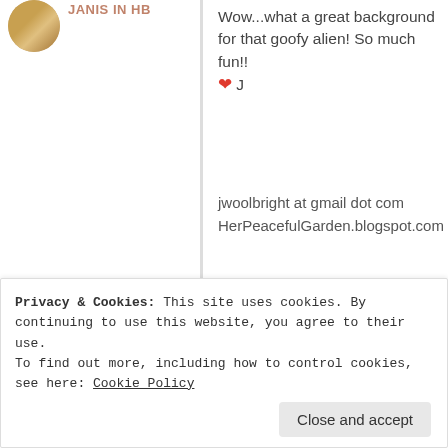JANIS IN HB
Wow...what a great background for that goofy alien! So much fun!! ❤ J
jwoolbright at gmail dot com
HerPeacefulGarden.blogspot.com
★ Liked by 1 person
Reply
SweetInkspiration
JUNE 28, 2020 AT 3:42 PM
Privacy & Cookies: This site uses cookies. By continuing to use this website, you agree to their use.
To find out more, including how to control cookies, see here: Cookie Policy
Close and accept